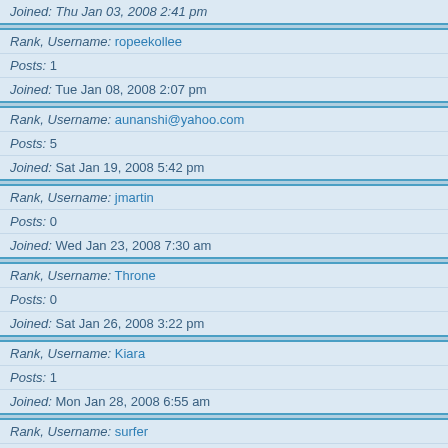Joined: Thu Jan 03, 2008 2:41 pm
Rank, Username: ropeekollee
Posts: 1
Joined: Tue Jan 08, 2008 2:07 pm
Rank, Username: aunanshi@yahoo.com
Posts: 5
Joined: Sat Jan 19, 2008 5:42 pm
Rank, Username: jmartin
Posts: 0
Joined: Wed Jan 23, 2008 7:30 am
Rank, Username: Throne
Posts: 0
Joined: Sat Jan 26, 2008 3:22 pm
Rank, Username: Kiara
Posts: 1
Joined: Mon Jan 28, 2008 6:55 am
Rank, Username: surfer
Posts: 8
Joined: Thu Jan 31, 2008 7:36 am